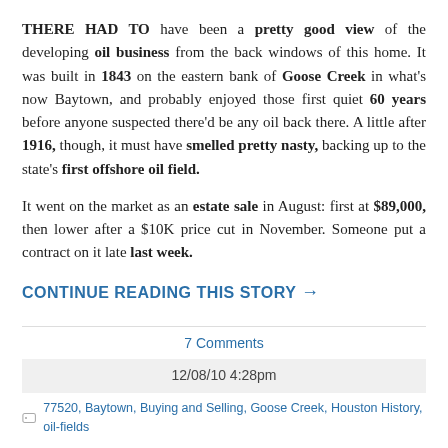THERE HAD TO have been a pretty good view of the developing oil business from the back windows of this home. It was built in 1843 on the eastern bank of Goose Creek in what's now Baytown, and probably enjoyed those first quiet 60 years before anyone suspected there'd be any oil back there. A little after 1916, though, it must have smelled pretty nasty, backing up to the state's first offshore oil field.
It went on the market as an estate sale in August: first at $89,000, then lower after a $10K price cut in November. Someone put a contract on it late last week.
CONTINUE READING THIS STORY →
7 Comments
12/08/10 4:28pm
77520, Baytown, Buying and Selling, Goose Creek, Houston History, oil-fields